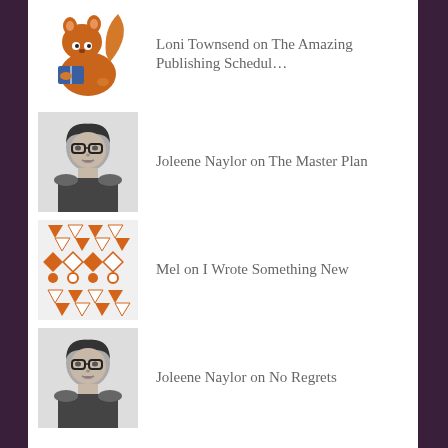Loni Townsend on The Amazing Publishing Schedul…
Joleene Naylor on The Master Plan
Mel on I Wrote Something New
Joleene Naylor on No Regrets
- RECENT POSTS -
I Used the Time Off Accordingly
The Amazing Publishing Schedule
The Master Plan